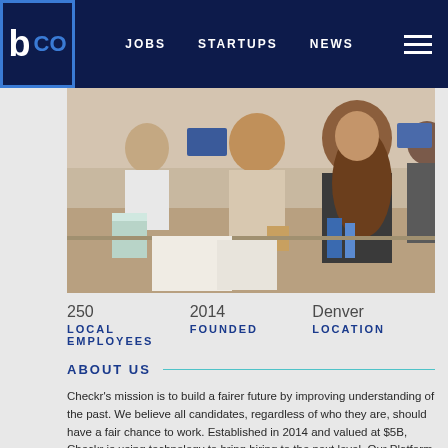b CO   JOBS   STARTUPS   NEWS
[Figure (photo): Office photo showing people working at desks, laughing and collaborating in an open office environment]
250 LOCAL EMPLOYEES   2014 FOUNDED   Denver LOCATION
ABOUT US
Checkr's mission is to build a fairer future by improving understanding of the past. We believe all candidates, regardless of who they are, should have a fair chance to work. Established in 2014 and valued at $5B, Checkr is using technology to bring hiring to the next level. Our Platform uses artificial intelligence and machine learning to help